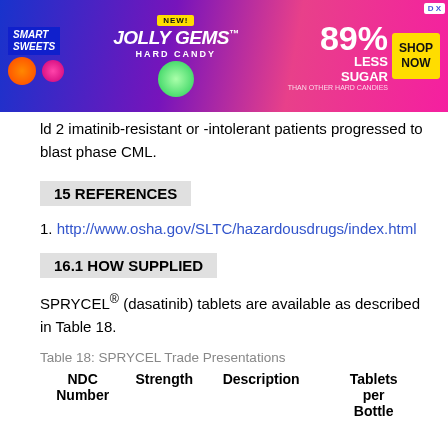[Figure (illustration): Advertisement banner for Smart Sweets Jolly Gems Hard Candy — '89% Less Sugar than other hard candies', with a SHOP NOW button]
ld 2 imatinib-resistant or -intolerant patients progressed to blast phase CML.
15 REFERENCES
1. http://www.osha.gov/SLTC/hazardousdrugs/index.html
16.1 HOW SUPPLIED
SPRYCEL® (dasatinib) tablets are available as described in Table 18.
Table 18: SPRYCEL Trade Presentations
| NDC Number | Strength | Description | Tablets per Bottle |
| --- | --- | --- | --- |